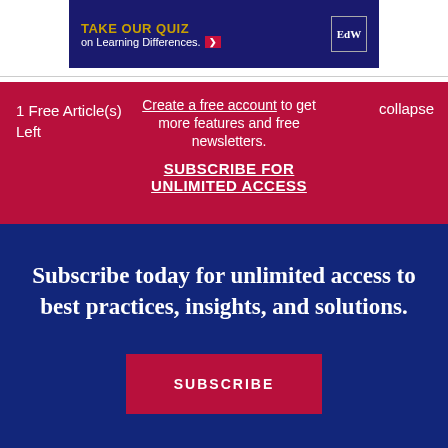[Figure (other): Advertisement banner with dark navy background reading 'TAKE OUR QUIZ on Learning Differences.' with an arrow button and EdW logo badge]
1 Free Article(s) Left
Create a free account to get more features and free newsletters.
SUBSCRIBE FOR UNLIMITED ACCESS
collapse
Subscribe today for unlimited access to best practices, insights, and solutions.
SUBSCRIBE